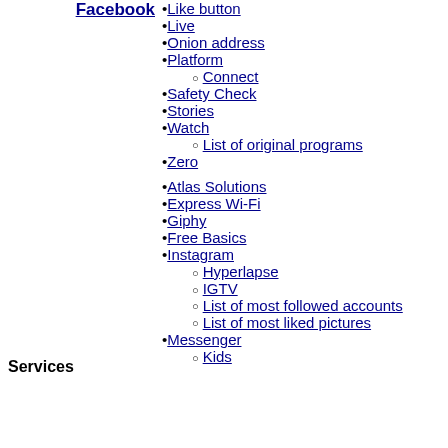Facebook
Like button
Live
Onion address
Platform
Connect
Safety Check
Stories
Watch
List of original programs
Zero
Atlas Solutions
Express Wi-Fi
Giphy
Free Basics
Instagram
Hyperlapse
IGTV
List of most followed accounts
List of most liked pictures
Messenger
Kids
Services